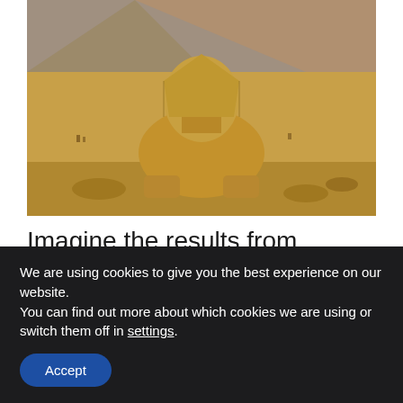[Figure (photo): Photograph of the Great Sphinx of Giza with a pyramid visible in the background, taken in a sunny desert landscape]
Imagine the results from eliminating your $30/month landline, sushi takeout three
We are using cookies to give you the best experience on our website.
You can find out more about which cookies we are using or switch them off in settings.
Accept